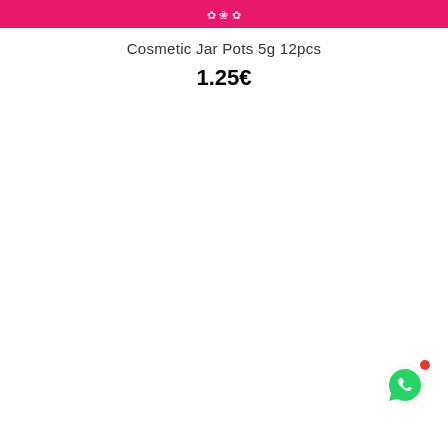Cosmetic Jar Pots 5g 12pcs
1.25€
[Figure (logo): WhatsApp icon button with red notification dot in bottom right corner]